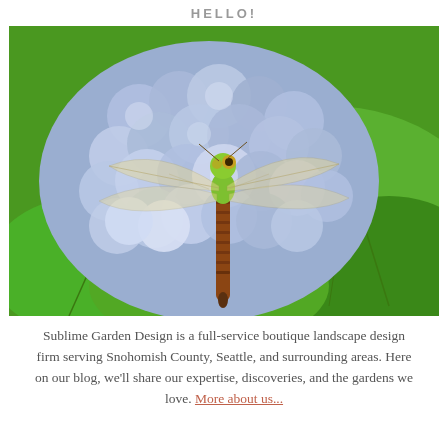HELLO!
[Figure (photo): Close-up photo of a dragonfly with green head and brown body resting on blue hydrangea flowers with large green leaves in the background.]
Sublime Garden Design is a full-service boutique landscape design firm serving Snohomish County, Seattle, and surrounding areas. Here on our blog, we'll share our expertise, discoveries, and the gardens we love. More about us...